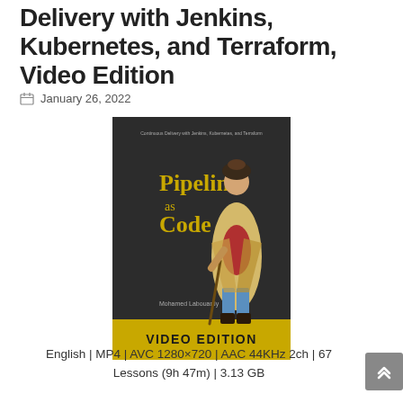Delivery with Jenkins, Kubernetes, and Terraform, Video Edition
January 26, 2022
[Figure (photo): Book cover of 'Pipeline as Code' by Mohamed Labouardy, showing a man in historical Eastern European costume. The cover has a dark background with gold 'Pipeline as Code' text, and a gold 'VIDEO EDITION' banner at the bottom. Subtitle text at top reads 'Continuous Delivery with Jenkins, Kubernetes, and Terraform'.]
English | MP4 | AVC 1280×720 | AAC 44KHz 2ch | 67 Lessons (9h 47m) | 3.13 GB